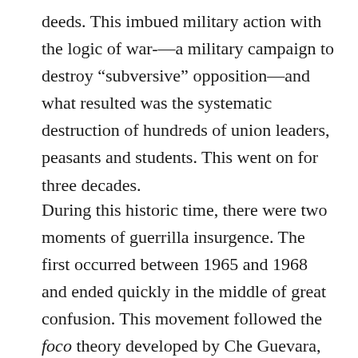deeds. This imbued military action with the logic of war-—a military campaign to destroy “subversive” opposition—and what resulted was the systematic destruction of hundreds of union leaders, peasants and students. This went on for three decades.
During this historic time, there were two moments of guerrilla insurgence. The first occurred between 1965 and 1968 and ended quickly in the middle of great confusion. This movement followed the foco theory developed by Che Guevara, calling for vanguard actions of guerrilla cadres leading to general insurrection. The other